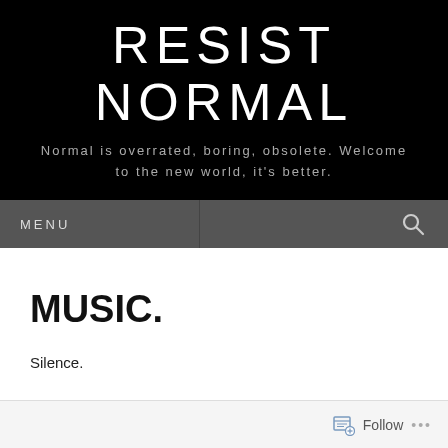RESIST NORMAL
Normal is overrated, boring, obsolete. Welcome to the new world, it's better.
MENU
MUSIC.
Silence.
One, two, three, four. One, two, three, four..
Follow ...